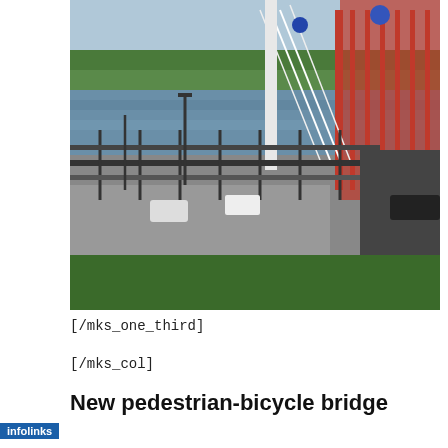[Figure (photo): Aerial view of a pedestrian-bicycle bridge over a river, with red railings, cables, lamp posts, parked and moving cars on adjacent road, and green trees in background.]
[/mks_one_third]
[/mks_col]
New pedestrian-bicycle bridge
[Figure (screenshot): Advertisement banner: infolinks label on left, pizza image on left, red seamless button in center, ORDER NOW button with white border on right, dark background, close X button top right.]